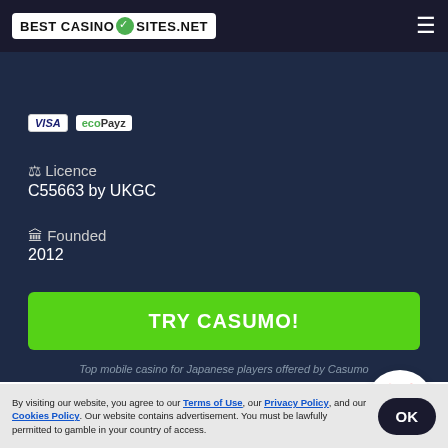BEST CASINO SITES.NET
[Figure (logo): Visa and ecoPayz payment method icons]
⚖ Licence
C55663 by UKGC
🏛 Founded
2012
TRY CASUMO!
Top mobile casino for Japanese players offered by Casumo
The differences between mobile and desktop gameplay can be felt from the use of various screens. While desktop devices sti better quality in terms of resolution, mobile gameplay compensates with an equally reliable interface and an
By visiting our website, you agree to our Terms of Use, our Privacy Policy, and our Cookies Policy. Our website contains advertisement. You must be lawfully permitted to gamble in your country of access.